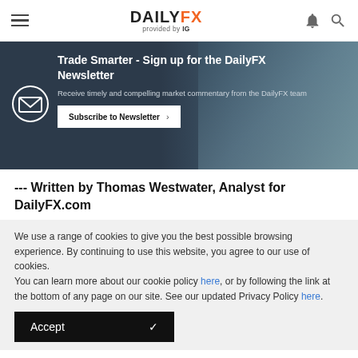DAILYFX provided by IG
[Figure (infographic): Newsletter signup banner with envelope icon, heading 'Trade Smarter - Sign up for the DailyFX Newsletter', description text, and Subscribe to Newsletter button, overlaid on a dark blue background with keyboard image]
--- Written by Thomas Westwater, Analyst for DailyFX.com
We use a range of cookies to give you the best possible browsing experience. By continuing to use this website, you agree to our use of cookies.
You can learn more about our cookie policy here, or by following the link at the bottom of any page on our site. See our updated Privacy Policy here.
Accept